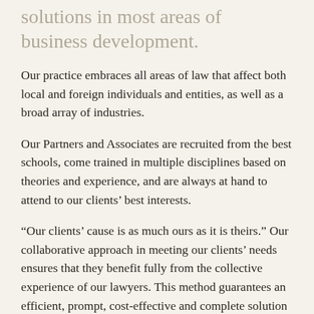solutions in most areas of business development.
Our practice embraces all areas of law that affect both local and foreign individuals and entities, as well as a broad array of industries.
Our Partners and Associates are recruited from the best schools, come trained in multiple disciplines based on theories and experience, and are always at hand to attend to our clients’ best interests.
“Our clients’ cause is as much ours as it is theirs.” Our collaborative approach in meeting our clients’ needs ensures that they benefit fully from the collective experience of our lawyers. This method guarantees an efficient, prompt, cost-effective and complete solution to a